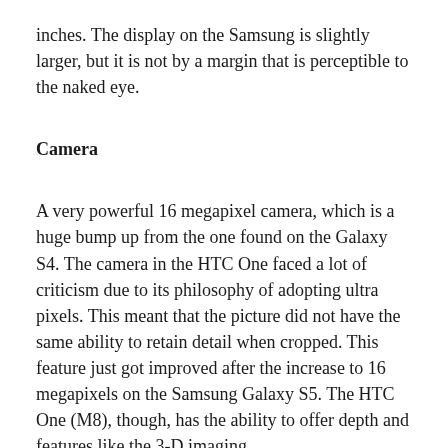inches. The display on the Samsung is slightly larger, but it is not by a margin that is perceptible to the naked eye.
Camera
A very powerful 16 megapixel camera, which is a huge bump up from the one found on the Galaxy S4. The camera in the HTC One faced a lot of criticism due to its philosophy of adopting ultra pixels. This meant that the picture did not have the same ability to retain detail when cropped. This feature just got improved after the increase to 16 megapixels on the Samsung Galaxy S5. The HTC One (M8), though, has the ability to offer depth and features like the 3-D imaging.
The DSLR camera like effects are also more pronounced on the HTC One (M8) due to the dual camera. Once again, this is unable to maintain the same amount of detail when the pictures